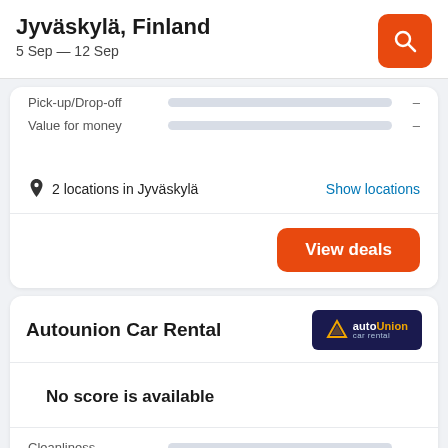Jyväskylä, Finland
5 Sep — 12 Sep
Pick-up/Drop-off —
Value for money —
2 locations in Jyväskylä
Show locations
View deals
Autounion Car Rental
No score is available
Cleanliness —
Comfort —
Pick-up/Drop-off —